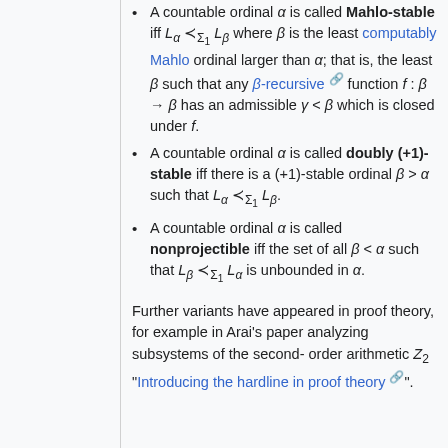A countable ordinal α is called Mahlo-stable iff L_α ≺_{Σ₁} L_β where β is the least computably Mahlo ordinal larger than α; that is, the least β such that any β-recursive function f : β → β has an admissible γ < β which is closed under f.
A countable ordinal α is called doubly (+1)-stable iff there is a (+1)-stable ordinal β > α such that L_α ≺_{Σ₁} L_β.
A countable ordinal α is called nonprojectible iff the set of all β < α such that L_β ≺_{Σ₁} L_α is unbounded in α.
Further variants have appeared in proof theory, for example in Arai's paper analyzing subsystems of the second-order arithmetic Z₂ "Introducing the hardline in proof theory".